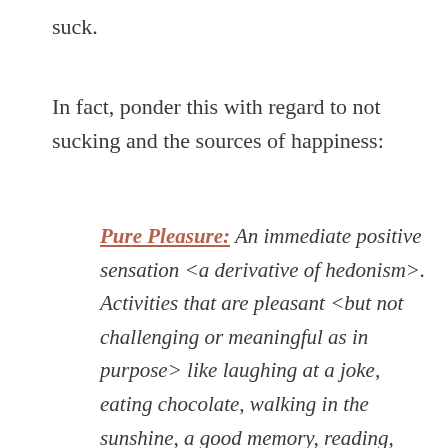suck.
In fact, ponder this with regard to not sucking and the sources of happiness:
Pure Pleasure: An immediate positive sensation <a derivative of hedonism>. Activities that are pleasant <but not challenging or meaningful as in purpose> like laughing at a joke, eating chocolate, walking in the sunshine, a good memory, reading, swimming in the ocean, listening to music, anything